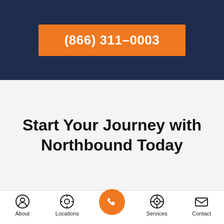(866) 311-0003
Start Your Journey with Northbound Today
About  Locations  [call button]  Services  Contact